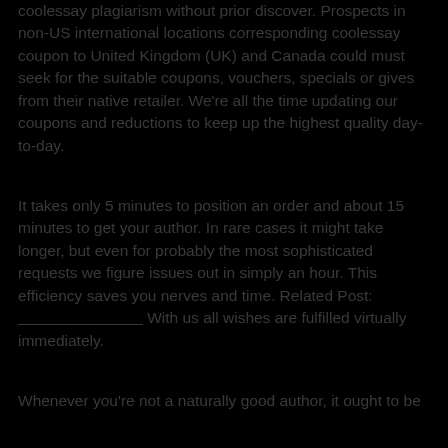coolessay plagiarism without prior discover. Prospects in non-US international locations corresponding coolessay coupon to United Kingdom (UK) and Canada could must seek for the suitable coupons, vouchers, specials or gives from their native retailer. We're all the time updating our coupons and reductions to keep up the highest quality day-to-day.
It takes only 5 minutes to position an order and about 15 minutes to get your author. In rare cases it might take longer, but even for probably the most sophisticated requests we figure issues out in simply an hour. This efficiency saves you nerves and time. Related Post: With us all wishes are fulfilled virtually immediately.
Whenever you're not a naturally good author, it ought to be